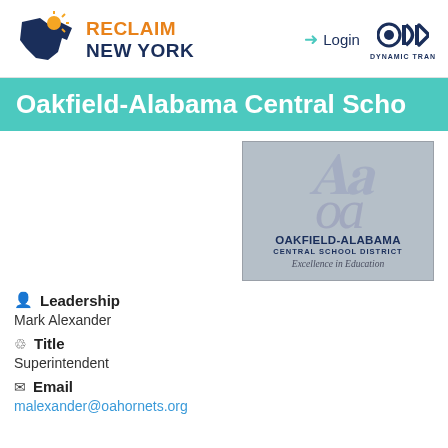RECLAIM NEW YORK | Login | DYN DYNAMIC TRAN
Oakfield-Alabama Central Scho
[Figure (logo): Oakfield-Alabama Central School District logo with script letters and tagline 'Excellence in Education' on grey background]
Leadership
Mark Alexander
Title
Superintendent
Email
malexander@oahornets.org